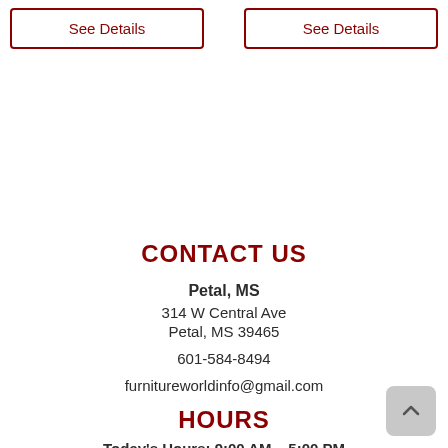See Details
See Details
CONTACT US
Petal, MS
314 W Central Ave
Petal, MS 39465
601-584-8494
furnitureworldinfo@gmail.com
HOURS
Today's Hours: 9:00 AM – 5:00 PM